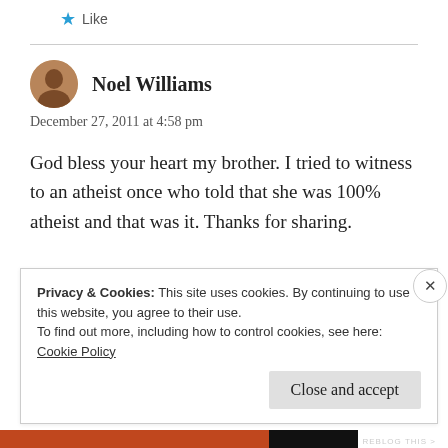Like
Noel Williams
December 27, 2011 at 4:58 pm
God bless your heart my brother. I tried to witness to an atheist once who told that she was 100% atheist and that was it. Thanks for sharing.
Privacy & Cookies: This site uses cookies. By continuing to use this website, you agree to their use.
To find out more, including how to control cookies, see here: Cookie Policy
Close and accept